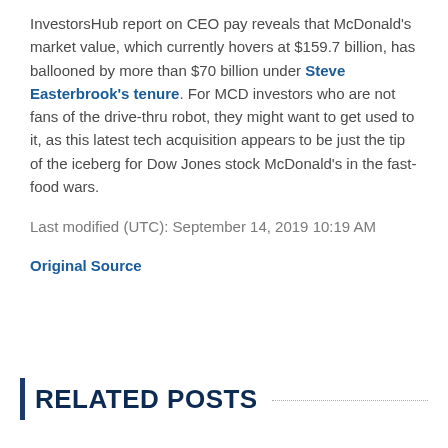InvestorsHub report on CEO pay reveals that McDonald's market value, which currently hovers at $159.7 billion, has ballooned by more than $70 billion under Steve Easterbrook's tenure. For MCD investors who are not fans of the drive-thru robot, they might want to get used to it, as this latest tech acquisition appears to be just the tip of the iceberg for Dow Jones stock McDonald's in the fast-food wars.
Last modified (UTC): September 14, 2019 10:19 AM
Original Source
RELATED POSTS